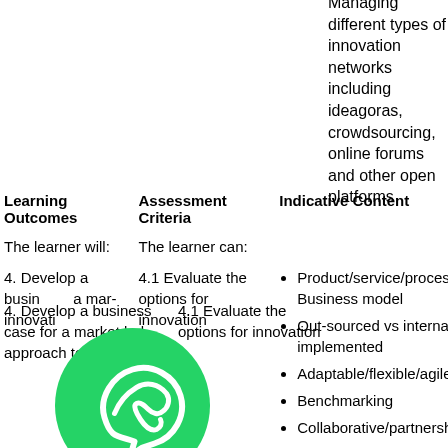Managing different types of innovation networks including ideagoras, crowdsourcing, online forums and other open platforms
| Learning Outcomes | Assessment Criteria | Indicative Content |
| --- | --- | --- |
| The learner will: | The learner can: |  |
| 4. Develop a business case for a market led approach to innovation | 4.1 Evaluate the options for innovation | Product/service/process Business model
Out-sourced vs internally implemented
Adaptable/flexible/agile
Benchmarking
Collaborative/partnership |
[Figure (logo): WhatsApp green circle logo overlay]